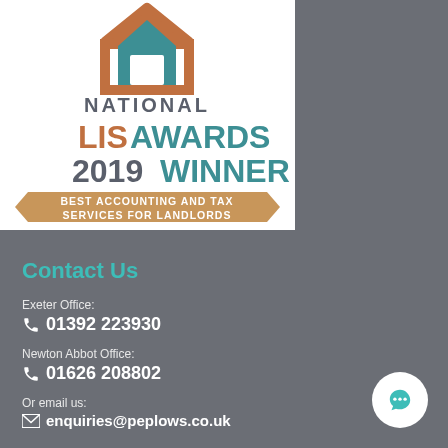[Figure (logo): National LIS Awards 2019 Winner - Best Accounting and Tax Services for Landlords award badge with house icon]
Contact Us
Exeter Office:
01392 223930
Newton Abbot Office:
01626 208802
Or email us:
enquiries@peplows.co.uk